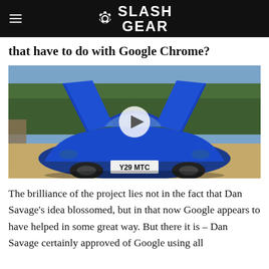SlashGear
that have to do with Google Chrome?
[Figure (photo): A blue McLaren sports car with dihedral doors open, parked outdoors with trees in background. License plate reads Y29 MTC. Video play button overlay in center.]
The brilliance of the project lies not in the fact that Dan Savage's idea blossomed, but in that now Google appears to have helped in some great way. But there it is – Dan Savage certainly approved of Google using all